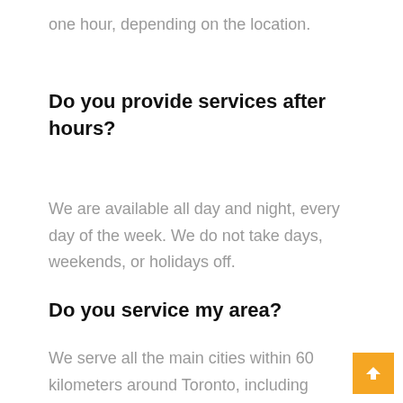one hour, depending on the location.
Do you provide services after hours?
We are available all day and night, every day of the week. We do not take days, weekends, or holidays off.
Do you service my area?
We serve all the main cities within 60 kilometers around Toronto, including Brampton, Mississauga, North York, and Markham. We also service Pickering, Vaughan, Oshawa, Ajax, Barrie, Newmarket, and Whitby.